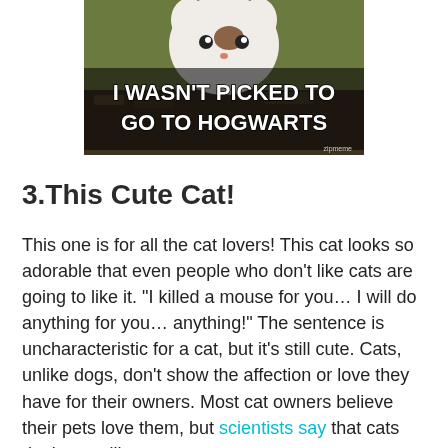[Figure (photo): Meme image of a cat/animal with bold white text reading 'I WASN'T PICKED TO GO TO HOGWARTS' with 'zipmeme' watermark in bottom right corner.]
3.This Cute Cat!
This one is for all the cat lovers! This cat looks so adorable that even people who don't like cats are going to like it. "I killed a mouse for you… I will do anything for you… anything!" The sentence is uncharacteristic for a cat, but it's still cute. Cats, unlike dogs, don't show the affection or love they have for their owners. Most cat owners believe their pets love them, but scientists say that cats don't even like